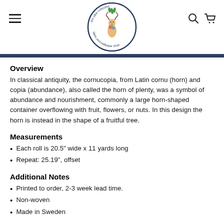Shop header with logo, hamburger menu, search and cart icons
Overview
In classical antiquity, the cornucopia, from Latin cornu (horn) and copia (abundance), also called the horn of plenty, was a symbol of abundance and nourishment, commonly a large horn-shaped container overflowing with fruit, flowers, or nuts. In this design the horn is instead in the shape of a fruitful tree.
Measurements
Each roll is 20.5" wide x 11 yards long
Repeat: 25.19", offset
Additional Notes
Printed to order, 2-3 week lead time.
Non-woven
Made in Sweden